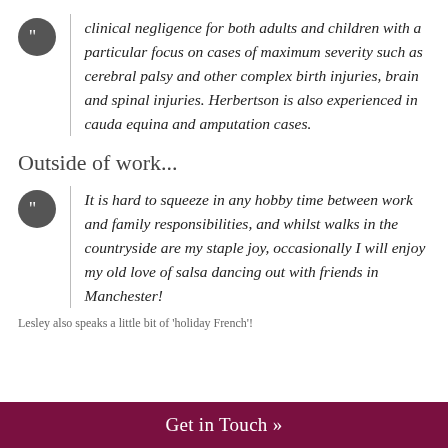clinical negligence for both adults and children with a particular focus on cases of maximum severity such as cerebral palsy and other complex birth injuries, brain and spinal injuries. Herbertson is also experienced in cauda equina and amputation cases.
Outside of work...
It is hard to squeeze in any hobby time between work and family responsibilities, and whilst walks in the countryside are my staple joy, occasionally I will enjoy my old love of salsa dancing out with friends in Manchester!
Lesley also speaks a little bit of 'holiday French'!
Get in Touch »